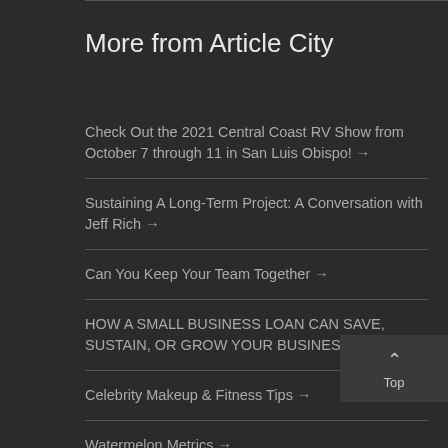More from Article City
Check Out the 2021 Central Coast RV Show from October 7 through 11 in San Luis Obispo! →
Sustaining A Long-Term Project: A Conversation with Jeff Rich →
Can You Keep Your Team Together →
HOW A SMALL BUSINESS LOAN CAN SAVE, SUSTAIN, OR GROW YOUR BUSINESS →
Celebrity Makeup & Fitness Tips →
Watermelon Metrics →